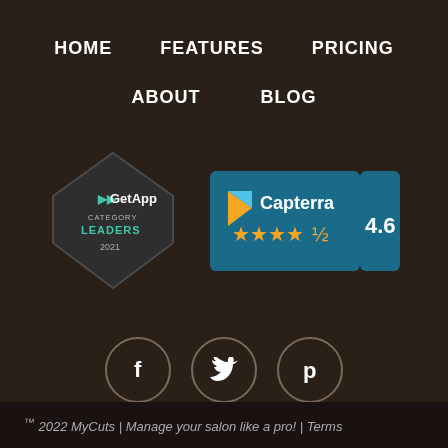HOME
FEATURES
PRICING
ABOUT
BLOG
[Figure (logo): GetApp Category Leaders 2021 badge (diamond shape with teal/green GetApp logo and text)]
[Figure (logo): Capterra rating badge showing 4.6 stars with orange star icons on dark teal background]
[Figure (infographic): Three social media icons in circular borders: Facebook (f), Twitter (bird), Pinterest (p)]
™ 2022 MyCuts | Manage your salon like a pro! | Terms